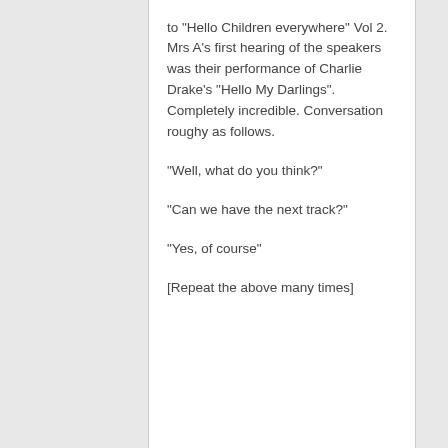to "Hello Children everywhere" Vol 2. Mrs A's first hearing of the speakers was their performance of Charlie Drake's "Hello My Darlings". Completely incredible. Conversation roughy as follows.
"Well, what do you think?"
"Can we have the next track?"
"Yes, of course"
[Repeat the above many times]